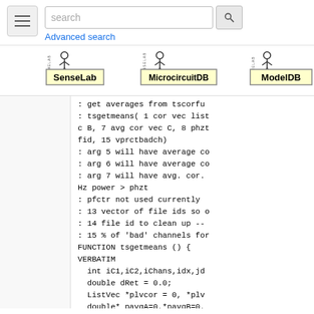search [search button] Advanced search
[Figure (logo): SenseLab logo]
[Figure (logo): MicrocircuitDB logo]
[Figure (logo): ModelDB logo]
: get averages from tscorfu
: tsgetmeans( 1 cor vec list c B, 7 avg cor vec C, 8 phzt fid, 15 vprctbadch)
: arg 5 will have average co
: arg 6 will have average co
: arg 7 will have avg. cor. Hz power > phzt
: pfctr not used currently
: 13 vector of file ids so o
: 14 file id to clean up --
: 15 % of 'bad' channels for
FUNCTION tsgetmeans () {
VERBATIM
  int iC1,iC2,iChans,idx,jd
  double dRet = 0.0;
  ListVec *plvcor = 0, *plv
  double* pavgA=0,*pavgB=0,
  int vsz = 0, fid=-1;